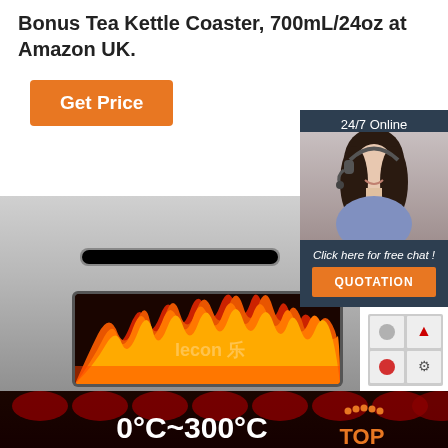Bonus Tea Kettle Coaster, 700mL/24oz at Amazon UK.
[Figure (other): Orange 'Get Price' button]
[Figure (other): 24/7 Online chat widget with photo of woman in headset, 'Click here for free chat!' text, and orange QUOTATION button]
[Figure (photo): Industrial pizza/bread oven with stainless steel exterior, visible flames through glass window, Lecon branding, temperature label 0°C~300°C at bottom, and TOP badge in bottom right corner]